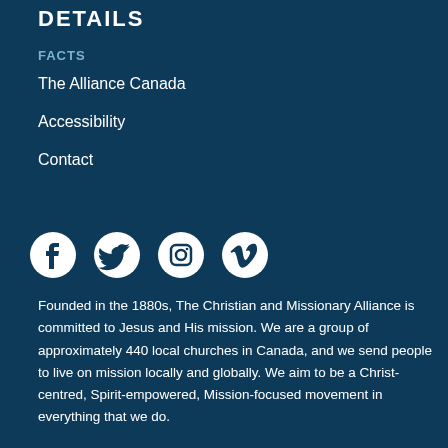DETAILS
FACTS
The Alliance Canada
Accessibility
Contact
[Figure (infographic): Social media icons: Facebook, Twitter, Instagram, Vimeo]
Founded in the 1880s, The Christian and Missionary Alliance is committed to Jesus and His mission. We are a group of approximately 440 local churches in Canada, and we send people to live on mission locally and globally. We aim to be a Christ-centred, Spirit-empowered, Mission-focused movement in everything that we do.